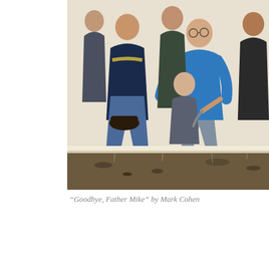[Figure (illustration): A painting showing a group of people gathered together. A prominent figure in a bright blue shirt is seated, and others stand around him. The scene appears to depict a farewell or gathering moment. Below the painted scene is a strip of muddy ground.]
“Goodbye, Father Mike” by Mark Cohen